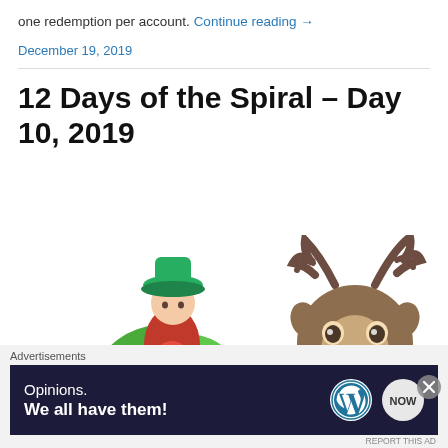one redemption per account. Continue reading →
December 19, 2019
12 Days of the Spiral – Day 10, 2019
[Figure (illustration): Two game characters: a fairy/gnome character in green and red holiday outfit on the left, and a cartoon deer/reindeer head on the right, against a white background.]
Advertisements
[Figure (screenshot): Advertisement banner with dark background reading 'Opinions. We all have them!' with WordPress logo and another circular logo on the right.]